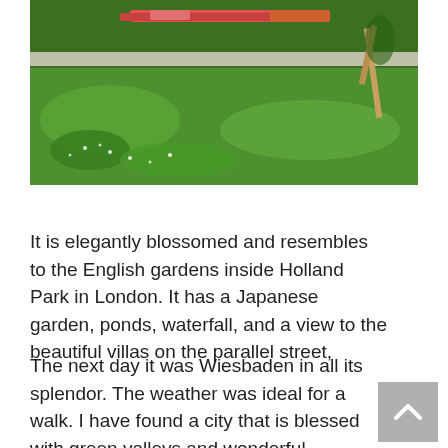[Figure (photo): A lush green garden with vibrant flower beds in red and pink along a pathway, with trees and wildflowers in the foreground and a wooden stake visible on the right.]
It is elegantly blossomed and resembles to the English gardens inside Holland Park in London. It has a Japanese garden, ponds, waterfall, and a view to the beautiful villas on the parallel street,
The next day it was Wiesbaden in all its splendor. The weather was ideal for a walk. I have found a city that is blessed with green valleys and wonderful architecture mainly from the 19th